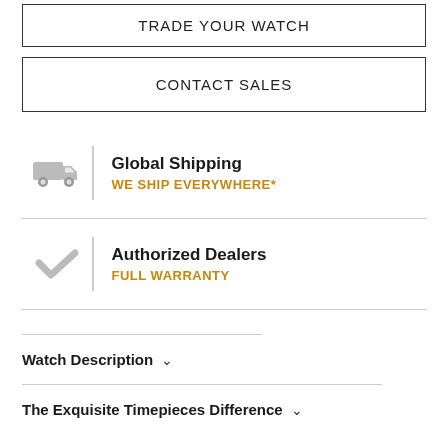TRADE YOUR WATCH
CONTACT SALES
Global Shipping — WE SHIP EVERYWHERE*
Authorized Dealers — FULL WARRANTY
Watch Description ˅
The Exquisite Timepieces Difference ˅